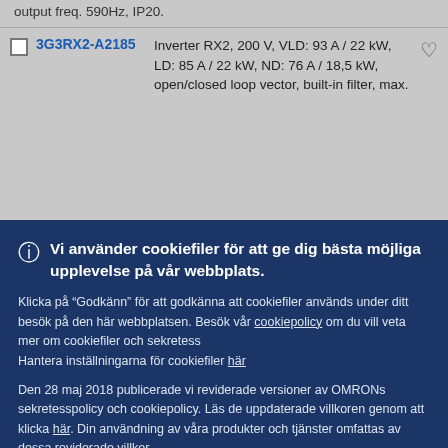output freq. 590Hz, IP20.
|  | Product ID | Description |  |
| --- | --- | --- | --- |
| ☐ | 3G3RX2-A2185 | Inverter RX2, 200 V, VLD: 93 A / 22 kW, LD: 85 A / 22 kW, ND: 76 A / 18,5 kW, open/closed loop vector, built-in filter, max. | ♡ |
Vi använder cookiefiler för att ge dig bästa möjliga upplevelse på vår webbplats.
Klicka på "Godkänn" för att godkänna att cookiefiler används under ditt besök på den här webbplatsen. Besök vår cookiepolicy om du vill veta mer om cookiefiler och sekretess
Hantera inställningarna för cookiefiler här
Den 28 maj 2018 publicerade vi reviderade versioner av OMRONs sekretesspolicy och cookiepolicy. Läs de uppdaterade villkoren genom att klicka här. Din användning av våra produkter och tjänster omfattas av dessa reviderade villkor.
Godkänn